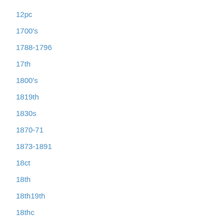12pc
1700's
1788-1796
17th
1800's
1819th
1830s
1870-71
1873-1891
18ct
18th
18th19th
18thc
1930's
1950's
19th
19thc